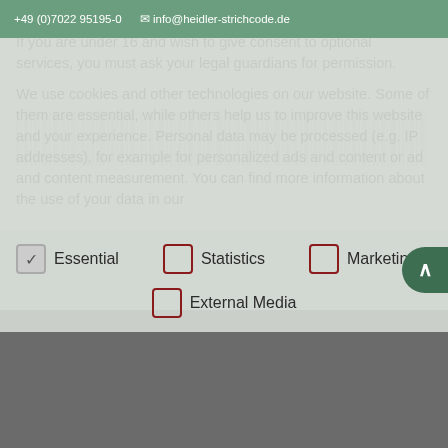+49 (0)7022 95195-0   info@heidler-strichcode.de
experience.
If you are under 16 and wish to give consent to optional services, you must ask your legal guardians for permission.
We use cookies and other technologies on our website. Some of them are essential, while others help us to improve this website and your experience. Personal data may be processed (e.g. IP addresses), for example for personalized ads and content or ad and content measurement. You can find more information about the use of your data in our
Essential
Statistics
Marketing
External Media